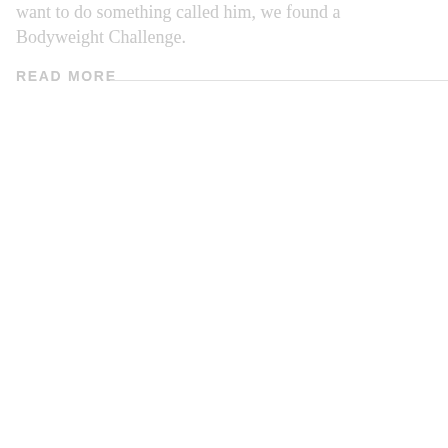want to do something called him, we found a Bodyweight Challenge.
READ MORE